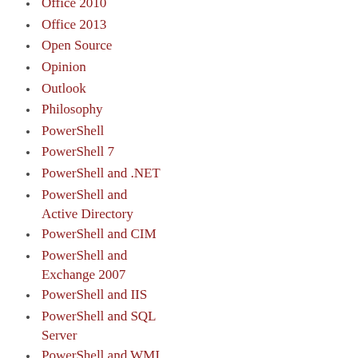Office 2010
Office 2013
Open Source
Opinion
Outlook
Philosophy
PowerShell
PowerShell 7
PowerShell and .NET
PowerShell and Active Directory
PowerShell and CIM
PowerShell and Exchange 2007
PowerShell and IIS
PowerShell and SQL Server
PowerShell and WMI